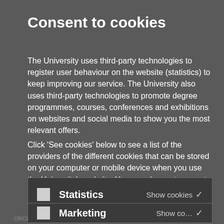Consent to cookies
The University uses third-party technologies to register user behaviour on the website (statistics) to keep improving our service. The University also uses third-party technologies to promote degree programmes, courses, conferences and exhibitions on websites and social media to show you the most relevant offers.
Click 'See cookies' below to see a list of the providers of the different cookies that can be stored on your computer or mobile device when you use the University's website. You can choose to accept or reject cookies and you can always review your consent:
Statistics   Show cookies
orcid.org/...
Marketing   Show cookies